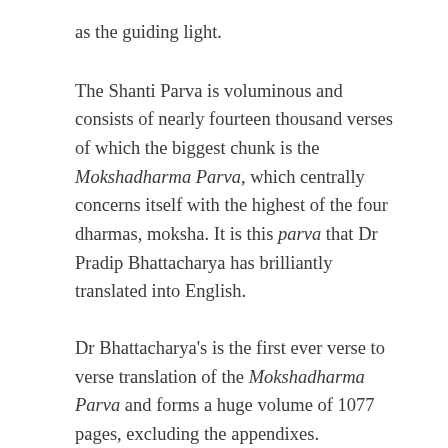as the guiding light.
The Shanti Parva is voluminous and consists of nearly fourteen thousand verses of which the biggest chunk is the Mokshadharma Parva, which centrally concerns itself with the highest of the four dharmas, moksha. It is this parva that Dr Pradip Bhattacharya has brilliantly translated into English.
Dr Bhattacharya’s is the first ever verse to verse translation of the Mokshadharma Parva and forms a huge volume of 1077 pages, excluding the appendixes.